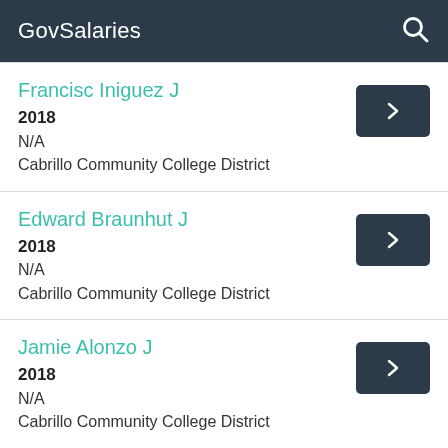GovSalaries
Francisc Iniguez J
2018
N/A
Cabrillo Community College District
Edward Braunhut J
2018
N/A
Cabrillo Community College District
Jamie Alonzo J
2018
N/A
Cabrillo Community College District